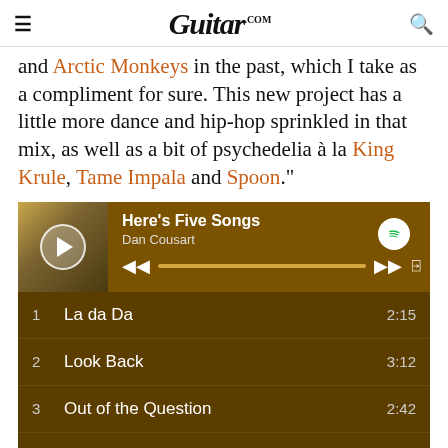Guitar.com
and Arctic Monkeys in the past, which I take as a compliment for sure. This new project has a little more dance and hip-hop sprinkled in that mix, as well as a bit of psychedelia à la King Krule, Tame Impala and Spoon."
[Figure (screenshot): Spotify embedded player widget showing playlist 'Here's Five Songs' by Dan Cousart with a progress bar and track listing: 1. La da Da 2:15, 2. Look Back 3:12, 3. Out of the Question 2:42, 4. They Don't Care About You 3:36, 5. Sheep 3:53 (partially visible)]